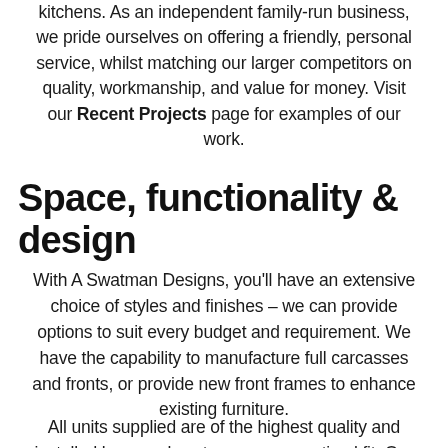kitchens. As an independent family-run business, we pride ourselves on offering a friendly, personal service, whilst matching our larger competitors on quality, workmanship, and value for money. Visit our Recent Projects page for examples of our work.
Space, functionality & design
With A Swatman Designs, you'll have an extensive choice of styles and finishes – we can provide options to suit every budget and requirement. We have the capability to manufacture full carcasses and fronts, or provide new front frames to enhance existing furniture.
All units supplied are of the highest quality and installed by ourselves to ensure an optimal fit. Our made-to-